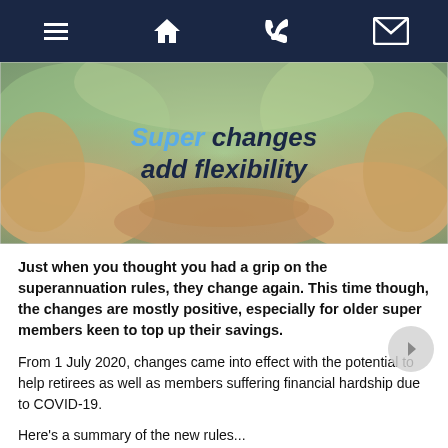Navigation bar with menu, home, phone, and email icons
[Figure (photo): Hero image showing elderly hands cupped together with overlaid text 'Super changes add flexibility' on a blurred outdoor background]
Just when you thought you had a grip on the superannuation rules, they change again. This time though, the changes are mostly positive, especially for older super members keen to top up their savings.
From 1 July 2020, changes came into effect with the potential to help retirees as well as members suffering financial hardship due to COVID-19.
Here's a summary of the new rules...